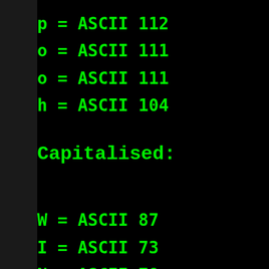p = ASCII 112
o = ASCII 111
o = ASCII 111
h = ASCII 104
Capitalised:
W = ASCII 87
I = ASCII 73
N = ASCII 78